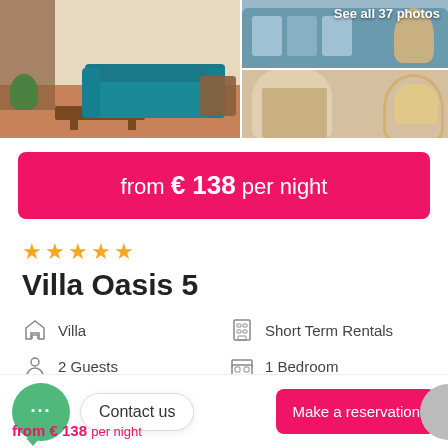[Figure (photo): Two property interior photos side by side. Left: living room with blue sofa and wooden chairs. Right: split into two panels showing striped sofa cushions and a natural wicker chair.]
See all 37 photos
from € 138 per night
★★★★★
Villa Oasis 5
Villa
Short Term Rentals
2 Guests
1 Bedroom
Contact us
from € 138 per night
Make a reservation